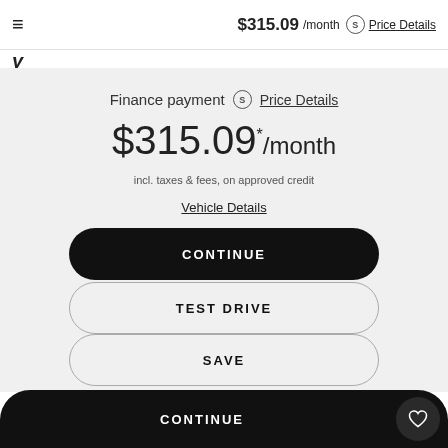≡   $315.09 /month  S  Price Details
$315.09 /month
Finance payment  S  Price Details
$315.09 */month
incl. taxes & fees, on approved credit
Vehicle Details
CONTINUE
TEST DRIVE
SAVE
CONTINUE  ♡